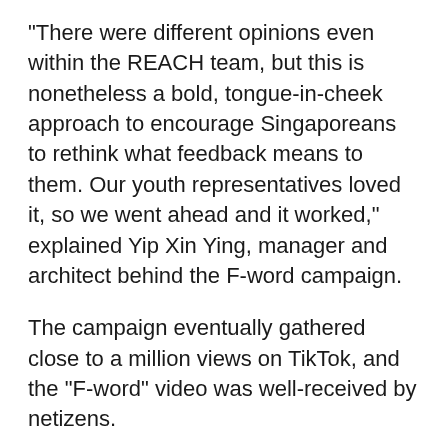“There were different opinions even within the REACH team, but this is nonetheless a bold, tongue-in-cheek approach to encourage Singaporeans to rethink what feedback means to them. Our youth representatives loved it, so we went ahead and it worked,” explained Yip Xin Ying, manager and architect behind the F-word campaign.
The campaign eventually gathered close to a million views on TikTok, and the “F-word” video was well-received by netizens.
Following the successful campaign, REACH hired “closet cartoonist” and talented artist Shen Jia Hui to further connect with youths.
She came up with different characters – Apathetic Andy, Inquisitive Ivan and Skeptical Susan – that